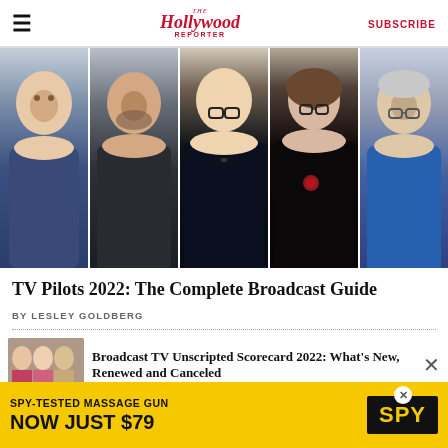The Hollywood Reporter | SUBSCRIBE
[Figure (photo): Five people posed for a composite photo collage — five headshots side by side: men and women, formal and semi-formal attire, for a Hollywood Reporter article on TV Pilots 2022]
TV Pilots 2022: The Complete Broadcast Guide
BY LESLEY GOLDBERG
[Figure (photo): Thumbnail image for related article about Broadcast TV Unscripted Scorecard 2022]
Broadcast TV Unscripted Scorecard 2022: What's New, Renewed and Canceled
[Figure (advertisement): Advertisement banner: SPY-TESTED MASSAGE GUN NOW JUST $79 by SPY]